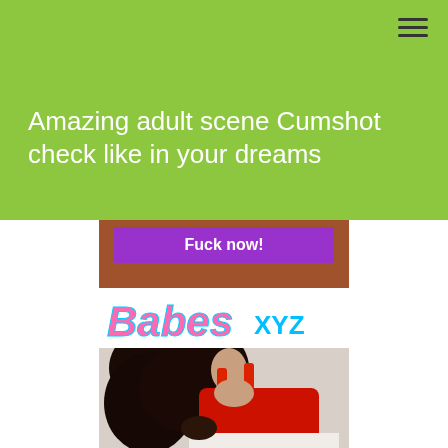Amazing adult scene Cumshot check like in your dreams
[Figure (screenshot): Advertisement banner with purple button labeled 'Fuck now!']
[Figure (logo): Babes XYZ logo in pink italic font with cyan outline and cyan XYZ text]
[Figure (photo): Woman with long dark hair wearing a red dress, posing by a wall]
[Figure (photo): Partial photo of another scene with dark tones, bottom of page]